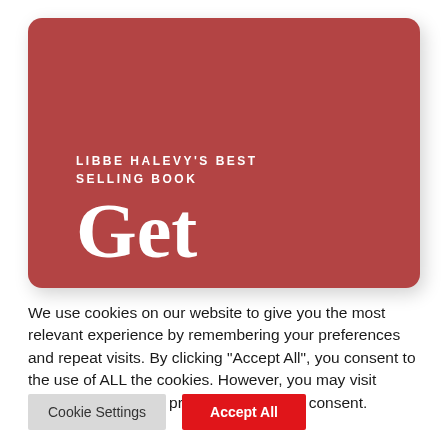[Figure (illustration): Red rounded rectangle book card with white text reading 'LIBBE HALEVY'S BEST SELLING BOOK' and large 'Get' text below]
We use cookies on our website to give you the most relevant experience by remembering your preferences and repeat visits. By clicking "Accept All", you consent to the use of ALL the cookies. However, you may visit "Cookie Settings" to provide a controlled consent.
Cookie Settings
Accept All